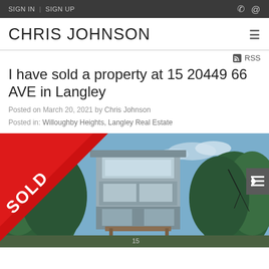SIGN IN | SIGN UP
CHRIS JOHNSON
RSS
I have sold a property at 15 20449 66 AVE in Langley
Posted on March 20, 2021 by Chris Johnson
Posted in: Willoughby Heights, Langley Real Estate
[Figure (photo): Exterior photo of a townhouse property at 15 20449 66 AVE in Langley with a red SOLD banner in the top-left corner. The building is a multi-storey structure surrounded by trees.]